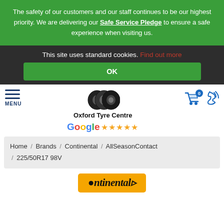The safety of our customers and our staff continues to be our highest priority. We are delivering our Safe Service Pledge to ensure a safe experience when visiting us.
This site uses standard cookies. Find out more
OK
[Figure (logo): Oxford Tyre Centre logo with tyre image and Google 5-star rating]
MENU
Home / Brands / Continental / AllSeasonContact / 225/50R17 98V
[Figure (logo): Continental brand logo on orange background]